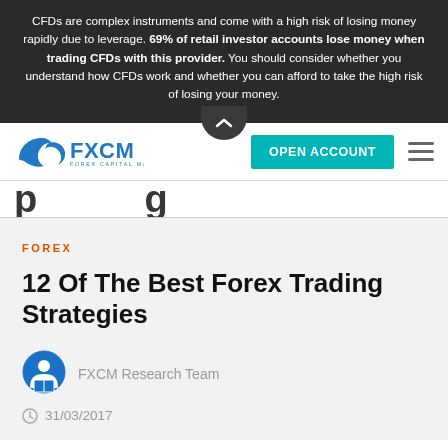CFDs are complex instruments and come with a high risk of losing money rapidly due to leverage. 69% of retail investor accounts lose money when trading CFDs with this provider. You should consider whether you understand how CFDs work and whether you can afford to take the high risk of losing your money.
[Figure (logo): FXCM – Forex Capital Markets logo in blue]
OPEN ACCOUNT
FOREX
12 Of The Best Forex Trading Strategies
FXCM Research Team
31/03/2017